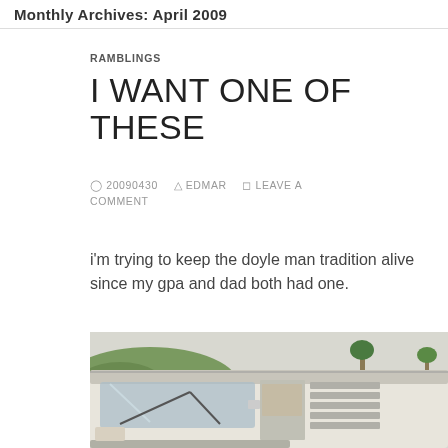Monthly Archives: April 2009
RAMBLINGS
I WANT ONE OF THESE
20090430  EDMAR  LEAVE A COMMENT
i'm trying to keep the doyle man tradition alive since my gpa and dad both had one.
[Figure (photo): Vintage VW van / camper van viewed from front-left, white/cream colored, with open side window louvres, parked outdoors with trees and hills in background.]